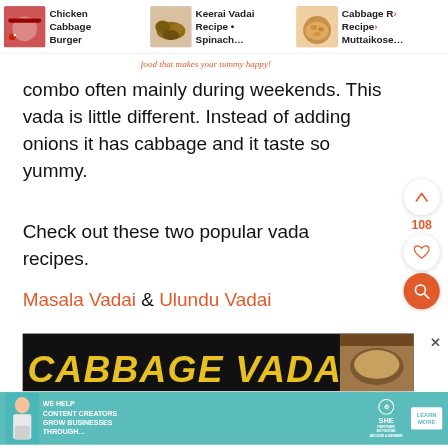[Figure (screenshot): Website navigation bar showing three food recipe thumbnails: Chicken Cabbage Burger, Keerai Vadai Recipe • Spinach..., and Cabbage R... Recipe • Muttaikose...]
food that makes your tummy happy!
combo often mainly during weekends. This vada is little different. Instead of adding onions it has cabbage and it taste so yummy.
Check out these two popular vada recipes.
Masala Vadai & Ulundu Vadai
[Figure (screenshot): Bottom portion of a food blog page showing a dark image with yellow text reading CABBAGE VADA, partially visible, with a bowl of food on the right. A close/X button is visible top right of the image. A teal advertisement banner at the bottom reads: WE HELP CONTENT CREATORS GROW BUSINESSES THROUGH... with SHE PARTNER NETWORK logo and LEARN MORE button.]